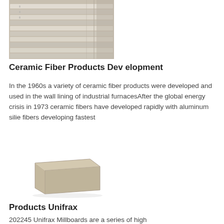[Figure (photo): Stack of white ceramic fiber boards/slabs piled in a warehouse or production facility]
Ceramic Fiber Products Dev elopment
In the 1960s a variety of ceramic fiber products were developed and used in the wall lining of industrial furnacesAfter the global energy crisis in 1973 ceramic fibers have developed rapidly with aluminum silie fibers developing fastest
[Figure (photo): Single rectangular ceramic fiber brick/millboard block, beige/tan color, shown on white background]
Products Unifrax
202245 Unifrax Millboards are a series of high